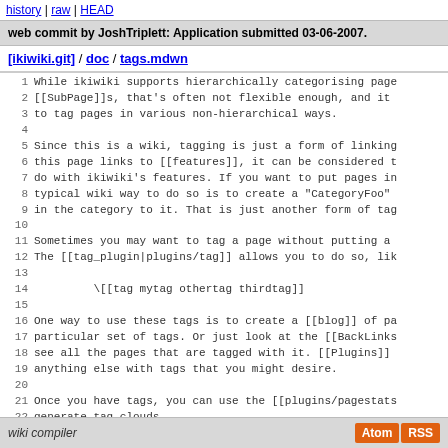history | raw | HEAD
web commit by JoshTriplett: Application submitted 03-06-2007.
[ikiwiki.git] / doc / tags.mdwn
1  While ikiwiki supports hierarchically categorising pages,
2  [[SubPage]]s, that's often not flexible enough, and it
3  to tag pages in various non-hierarchical ways.
4
5  Since this is a wiki, tagging is just a form of linking.
6  this page links to [[features]], it can be considered t
7  do with ikiwiki's features. If you want to put pages in
8  typical wiki way to do so is to create a "CategoryFoo"
9  in the category to it. That is just another form of tag.
10
11 Sometimes you may want to tag a page without putting a
12 The [[tag_plugin|plugins/tag]] allows you to do so, lik
13
14          \[[tag mytag othertag thirdtag]]
15
16 One way to use these tags is to create a [[blog]] of pa
17 particular set of tags. Or just look at the [[BackLinks
18 see all the pages that are tagged with it. [[Plugins]]
19 anything else with tags that you might desire.
20
21 Once you have tags, you can use the [[plugins/pagestat
22 generate tag clouds.
wiki compiler  Atom RSS